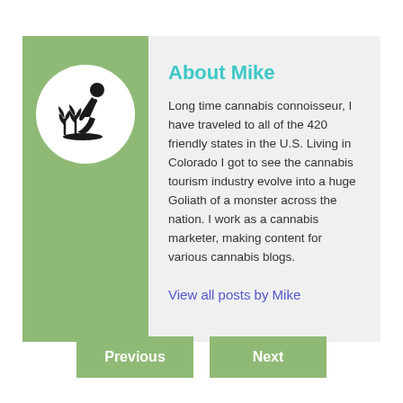[Figure (illustration): Silhouette of a person kneeling and tending to cannabis plants, black icon on white circular background]
About Mike
Long time cannabis connoisseur, I have traveled to all of the 420 friendly states in the U.S. Living in Colorado I got to see the cannabis tourism industry evolve into a huge Goliath of a monster across the nation. I work as a cannabis marketer, making content for various cannabis blogs.
View all posts by Mike